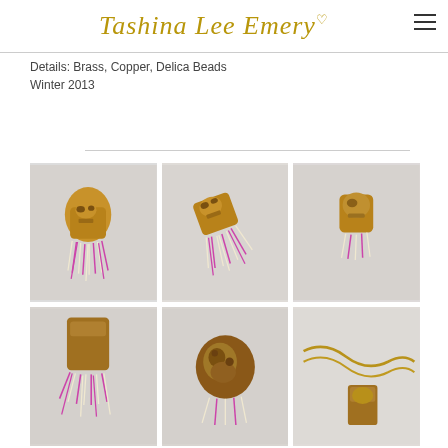Tashina Lee Emery
Details: Brass, Copper, Delica Beads
Winter 2013
[Figure (photo): Six photographs of a brass and copper jewelry piece (mask pendant) with purple and white Delica bead fringe, shown from multiple angles including front, tilted, side, and close-up views, plus a chain detail shot.]